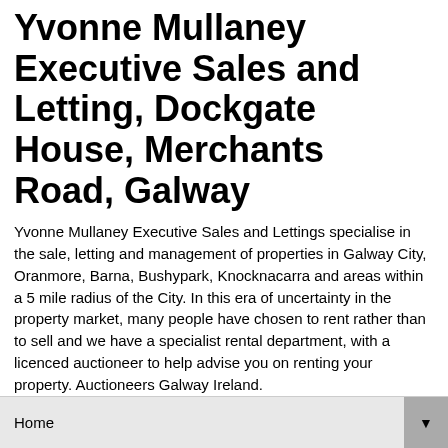Yvonne Mullaney Executive Sales and Letting, Dockgate House, Merchants Road, Galway
Yvonne Mullaney Executive Sales and Lettings specialise in the sale, letting and management of properties in Galway City, Oranmore, Barna, Bushypark, Knocknacarra and areas within a 5 mile radius of the City. In this era of uncertainty in the property market, many people have chosen to rent rather than to sell and we have a specialist rental department, with a licenced auctioneer to help advise you on renting your property. Auctioneers Galway Ireland.
Home